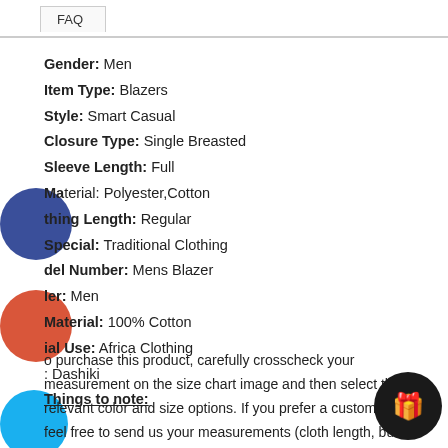FAQ
Gender: Men
Item Type: Blazers
Style: Smart Casual
Closure Type: Single Breasted
Sleeve Length: Full
Material: Polyester,Cotton
Clothing Length: Regular
Special: Traditional Clothing
Model Number: Mens Blazer
Gender: Men
Material: 100% Cotton
Special Use: Africa Clothing
Dashiki
Things to note:
To purchase this product, carefully crosscheck your measurement on the size chart image and then select the relevant color and size options. If you prefer a custom-made, feel free to send us your measurements (cloth length, bust, hips, waist) or get in touch through our customer service our expert designers will happily guide you through the